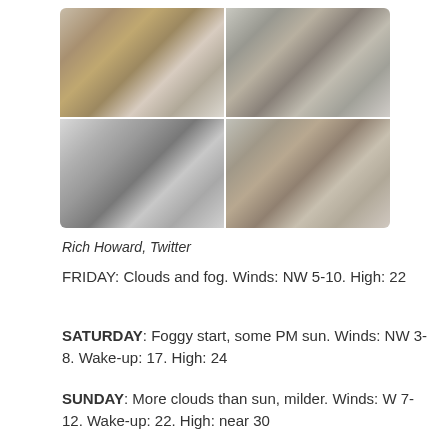[Figure (photo): Four-panel grid of winter tree photos showing snow-covered and frost-covered branches and leaves]
Rich Howard, Twitter
FRIDAY: Clouds and fog. Winds: NW 5-10. High: 22
SATURDAY: Foggy start, some PM sun. Winds: NW 3-8. Wake-up: 17. High: 24
SUNDAY: More clouds than sun, milder. Winds: W 7-12. Wake-up: 22. High: near 30